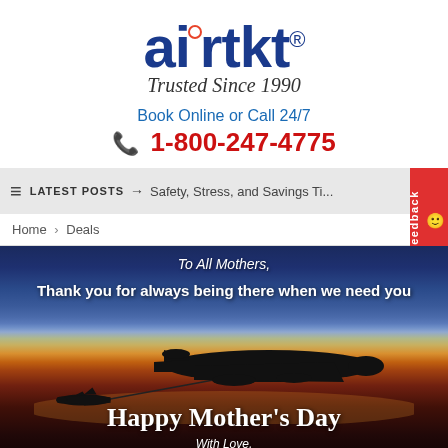[Figure (logo): airtkt logo with blue text and red registered mark, subtitle Trusted Since 1990]
Book Online or Call 24/7
1-800-247-4775
LATEST POSTS → Safety, Stress, and Savings Ti...
Home › Deals
[Figure (photo): Airplane silhouette against a sunset sky with text: To All Mothers, Thank you for always being there when we need you. Happy Mother's Day. With Love.]